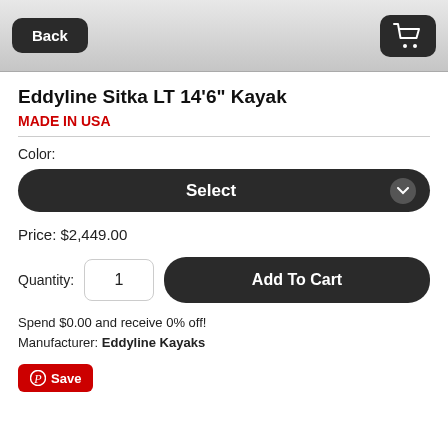Back | [cart icon]
Eddyline Sitka LT 14'6" Kayak
MADE IN USA
Color:
Select
Price: $2,449.00
Quantity: 1  Add To Cart
Spend $0.00 and receive 0% off!
Manufacturer: Eddyline Kayaks
[Figure (other): Pinterest Save button]